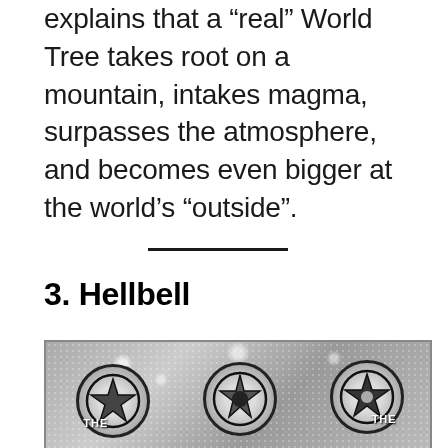explains that a “real” World Tree takes root on a mountain, intakes magma, surpasses the atmosphere, and becomes even bigger at the world’s “outside”.
3. Hellbell
[Figure (illustration): Manga panel showing multiple circular emblems or seals with star/pentagram designs against a gray halftone background with white spots. Partial text labels visible at bottom edges.]